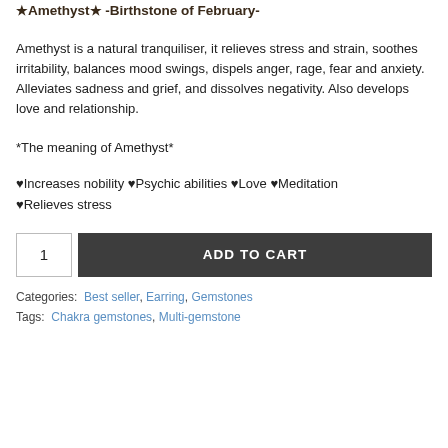★Amethyst★ -Birthstone of February-
Amethyst is a natural tranquiliser, it relieves stress and strain, soothes irritability, balances mood swings, dispels anger, rage, fear and anxiety.  Alleviates sadness and grief, and dissolves negativity. Also develops love and relationship.
*The meaning of Amethyst*
♥Increases nobility ♥Psychic abilities ♥Love ♥Meditation ♥Relieves stress
ADD TO CART (quantity: 1)
Categories: Best seller, Earring, Gemstones
Tags: Chakra gemstones, Multi-gemstone